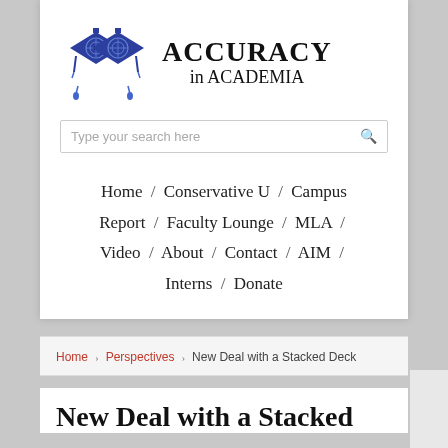[Figure (logo): Accuracy in Academia logo: two overlapping blue graduation caps with crosshair/target designs, with the text ACCURACY in ACADEMIA to the right]
Type your search here
Home / Conservative U / Campus Report / Faculty Lounge / MLA / Video / About / Contact / AIM / Interns / Donate
Home › Perspectives › New Deal with a Stacked Deck
New Deal with a Stacked Deck